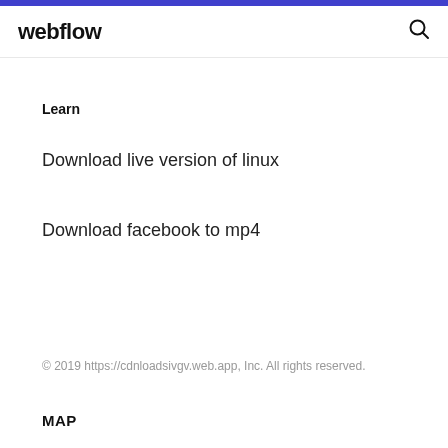webflow
Learn
Download live version of linux
Download facebook to mp4
© 2019 https://cdnloadsivgv.web.app, Inc. All rights reserved.
MAP